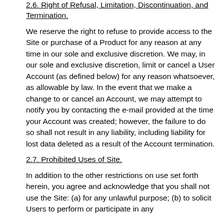2.6. Right of Refusal, Limitation, Discontinuation, and Termination.
We reserve the right to refuse to provide access to the Site or purchase of a Product for any reason at any time in our sole and exclusive discretion. We may, in our sole and exclusive discretion, limit or cancel a User Account (as defined below) for any reason whatsoever, as allowable by law. In the event that we make a change to or cancel an Account, we may attempt to notify you by contacting the e-mail provided at the time your Account was created; however, the failure to do so shall not result in any liability, including liability for lost data deleted as a result of the Account termination.
2.7. Prohibited Uses of Site.
In addition to the other restrictions on use set forth herein, you agree and acknowledge that you shall not use the Site: (a) for any unlawful purpose; (b) to solicit Users to perform or participate in any